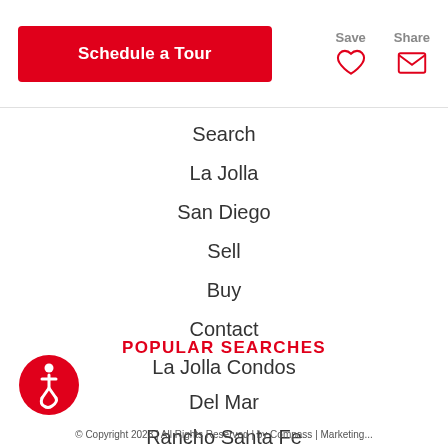Schedule a Tour | Save | Share
Search
La Jolla
San Diego
Sell
Buy
Contact
POPULAR SEARCHES
La Jolla Condos
Del Mar
Rancho Santa Fe
Pacific Beach
Coronado
[Figure (illustration): Accessibility icon — red circle with white wheelchair user symbol]
© Copyright 2023 | All Rights Reserved | by Compass | Marketing...